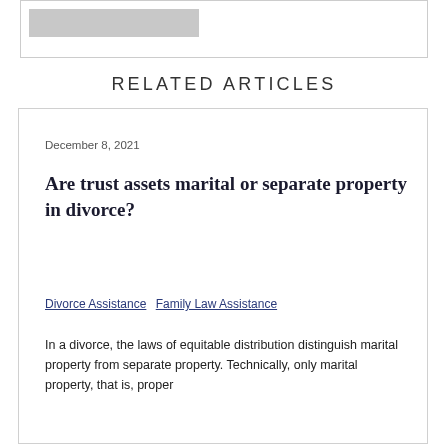[Figure (other): Top partial content box with a grey image placeholder bar]
RELATED ARTICLES
December 8, 2021
Are trust assets marital or separate property in divorce?
Divorce Assistance  Family Law Assistance
In a divorce, the laws of equitable distribution distinguish marital property from separate property. Technically, only marital property, that is, proper